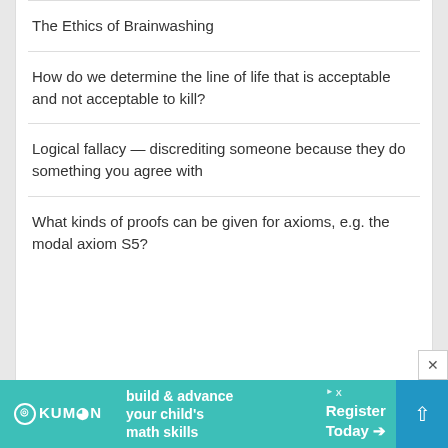The Ethics of Brainwashing
How do we determine the line of life that is acceptable and not acceptable to kill?
Logical fallacy — discrediting someone because they do something you agree with
What kinds of proofs can be given for axioms, e.g. the modal axiom S5?
[Figure (infographic): Kumon advertisement banner: teal background with Kumon logo, text 'build & advance your child's math skills', 'Register Today' call to action, and blue scroll-up button]